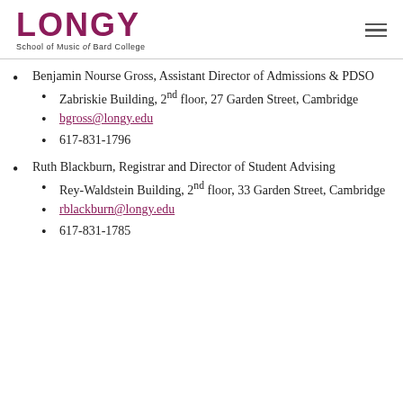LONGY School of Music of Bard College
Benjamin Nourse Gross, Assistant Director of Admissions & PDSO
Zabriskie Building, 2nd floor, 27 Garden Street, Cambridge
bgross@longy.edu
617-831-1796
Ruth Blackburn, Registrar and Director of Student Advising
Rey-Waldstein Building, 2nd floor, 33 Garden Street, Cambridge
rblackburn@longy.edu
617-831-1785